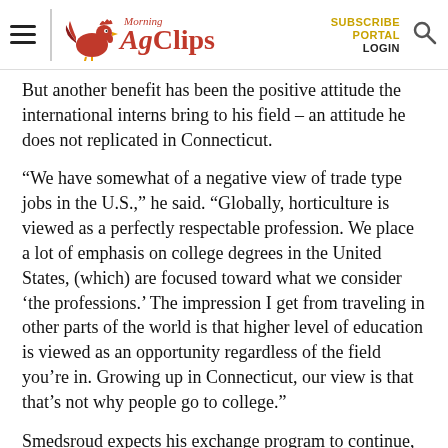Morning AgClips | SUBSCRIBE PORTAL LOGIN
But another benefit has been the positive attitude the international interns bring to his field – an attitude he does not replicated in Connecticut.
“We have somewhat of a negative view of trade type jobs in the U.S.,” he said. “Globally, horticulture is viewed as a perfectly respectable profession. We place a lot of emphasis on college degrees in the United States, (which) are focused toward what we consider ‘the professions.’ The impression I get from traveling in other parts of the world is that higher level of education is viewed as an opportunity regardless of the field you’re in. Growing up in Connecticut, our view is that that’s not why people go to college.”
Smedsroud expects his exchange program to continue, although “We’re all a little nervous right now about what